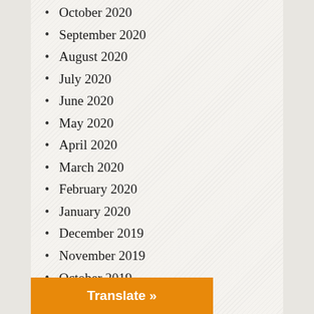October 2020
September 2020
August 2020
July 2020
June 2020
May 2020
April 2020
March 2020
February 2020
January 2020
December 2019
November 2019
October 2019
September 2019
August 2019
July 2019
June 2019
May 2019
Translate »